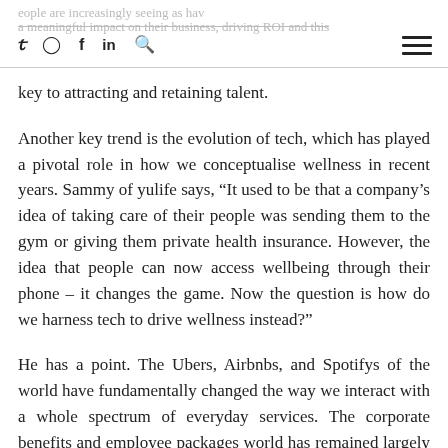Social media icons: Twitter, Instagram, Facebook, LinkedIn, Search, Hamburger menu
key to attracting and retaining talent.
Another key trend is the evolution of tech, which has played a pivotal role in how we conceptualise wellness in recent years. Sammy of yulife says, “It used to be that a company’s idea of taking care of their people was sending them to the gym or giving them private health insurance. However, the idea that people can now access wellbeing through their phone – it changes the game. Now the question is how do we harness tech to drive wellness instead?”
He has a point. The Ubers, Airbnbs, and Spotifys of the world have fundamentally changed the way we interact with a whole spectrum of everyday services. The corporate benefits and employee packages world has remained largely unchanged for decades, lagging behind